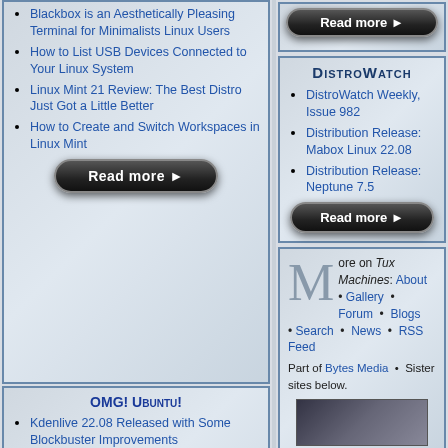Blackbox is an Aesthetically Pleasing Terminal for Minimalists Linux Users
How to List USB Devices Connected to Your Linux System
Linux Mint 21 Review: The Best Distro Just Got a Little Better
How to Create and Switch Workspaces in Linux Mint
[Figure (other): Read more button (dark rounded pill button)]
OMG! Ubuntu!
Kdenlive 22.08 Released with Some Blockbuster Improvements
Firefox 104 Released with Tweaks to Reduce Battery Usage When Idle
[Figure (other): Read more button (partial, top right)]
DistroWatch
DistroWatch Weekly, Issue 982
Distribution Release: Mabox Linux 22.08
Distribution Release: Neptune 7.5
[Figure (other): Read more button (dark rounded pill button)]
More on Tux Machines: About • Gallery • Forum • Blogs • Search • News • RSS Feed
Part of Bytes Media • Sister sites below.
[Figure (photo): Sister site image thumbnail]